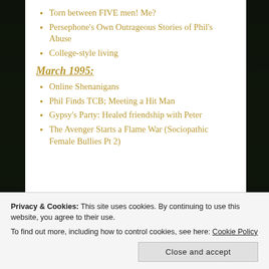Torn between FIVE men!  Me?
Persephone's Own Outrageous Stories of Phil's Abuse
College-style living
March 1995:
Online Shenanigans
Phil Finds TCB; Meeting a Hit Man
Gypsy's Party: Healed friendship with Peter
The Avenger Starts a Flame War (Sociopathic Female Bullies Pt 2)
A Conversation with Oscar Wilde
Privacy & Cookies: This site uses cookies. By continuing to use this website, you agree to their use. To find out more, including how to control cookies, see here: Cookie Policy